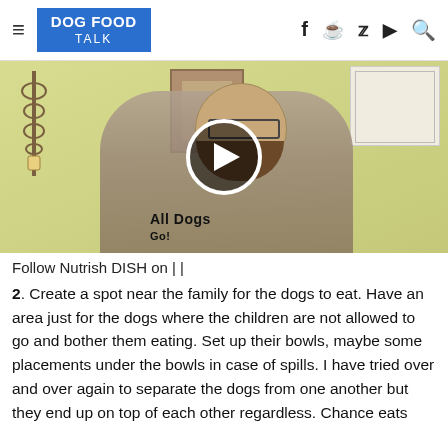DOG FOOD TALK
[Figure (photo): Video thumbnail showing a bearded man wearing glasses and an 'All Dogs' t-shirt in a yellow kitchen, with a play button overlay in the center.]
Follow Nutrish DISH on | |
2. Create a spot near the family for the dogs to eat. Have an area just for the dogs where the children are not allowed to go and bother them eating. Set up their bowls, maybe some placements under the bowls in case of spills. I have tried over and over again to separate the dogs from one another but they end up on top of each other regardless. Chance eats